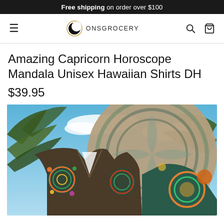Free shipping on order over $100
[Figure (screenshot): Website navigation bar with hamburger menu, ONSGROCERY logo (crescent moon icon), search icon, and cart icon]
Amazing Capricorn Horoscope Mandala Unisex Hawaiian Shirts DH
$39.95
[Figure (photo): Photo of Hawaiian shirts with colorful mandala/Capricorn horoscope pattern displayed against a tropical background with palm trees and blue sky]